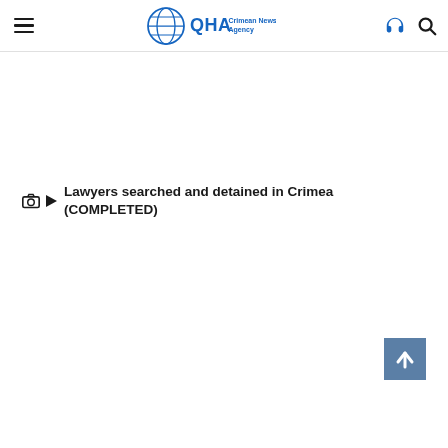QHA Crimean News Agency
Lawyers searched and detained in Crimea (COMPLETED)
[Figure (other): Back-to-top arrow button (blue square with white upward arrow)]